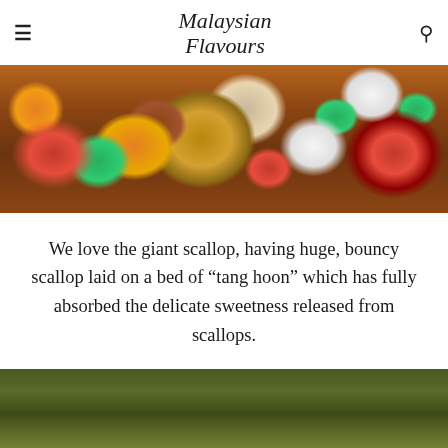Malaysian Flavours
[Figure (photo): Overhead view of multiple dishes including scallops, broccoli, tomato-based dishes, and other Malaysian food items arranged on a table]
We love the giant scallop, having huge, bouncy scallop laid on a bed of “tang hoon” which has fully absorbed the delicate sweetness released from scallops.
[Figure (photo): Close-up of chopped napa cabbage in a broth or soup in a large pot, with Malaysian Flavours Photography watermark]